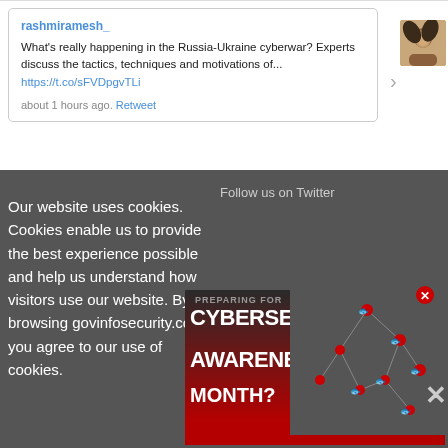rashmiramesh_
What's really happening in the Russia-Ukraine cyberwar? Experts discuss the tactics, techniques and motivations of... https://t.co/sFVDpgvTLi
about 1 hours ago. Retweet
Follow us on Twitter
Our website uses cookies. Cookies enable us to provide the best experience possible and help us understand how visitors use our website. By browsing govinfosecurity.com, you agree to our use of cookies.
[Figure (screenshot): Cybersecurity Awareness Month advertisement overlay with network diagram and fish icons on dark background]